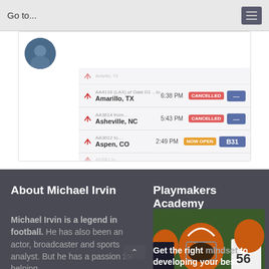Go to...
[Figure (screenshot): Mobile app screenshot showing an airport flight board with destinations including Amarillo TX, Asheville NC, and Aspen CO, with cancelled and now-open gate statuses. A circular profile photo is partially visible at top left.]
About Michael Irvin
Michael Irvin is a legend in football. He has also been an actor, broadcaster and sports analyst. But he has a passion for helping
Playmakers Academy
[Figure (photo): Youth football player wearing an orange helmet and jersey number 56, with other players visible in background.]
Get the right mindset to developing your best